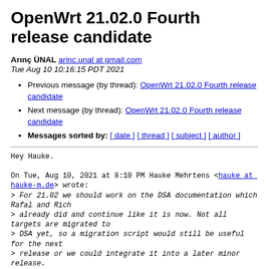OpenWrt 21.02.0 Fourth release candidate
Arınç ÜNAL arinc.unal at gmail.com
Tue Aug 10 10:16:15 PDT 2021
Previous message (by thread): OpenWrt 21.02.0 Fourth release candidate
Next message (by thread): OpenWrt 21.02.0 Fourth release candidate
Messages sorted by: [ date ] [ thread ] [ subject ] [ author ]
Hey Hauke.

On Tue, Aug 10, 2021 at 8:10 PM Hauke Mehrtens <hauke at hauke-m.de> wrote:
> For 21.02 we should work on the DSA documentation which Rafal and Rich
> already did and continue like it is now. Not all targets are migrated to
> DSA yet, so a migration script would still be useful for the next
> release or we could integrate it into a later minor release.